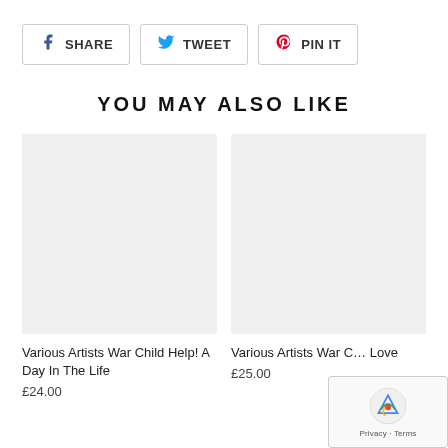SHARE
TWEET
PIN IT
YOU MAY ALSO LIKE
[Figure (photo): Product image placeholder – grey rectangle for Various Artists War Child Help! A Day In The Life]
Various Artists War Child Help! A Day In The Life
£24.00
[Figure (photo): Product image placeholder – grey rectangle for Various Artists War Child Love]
Various Artists War C… Love
£25.00